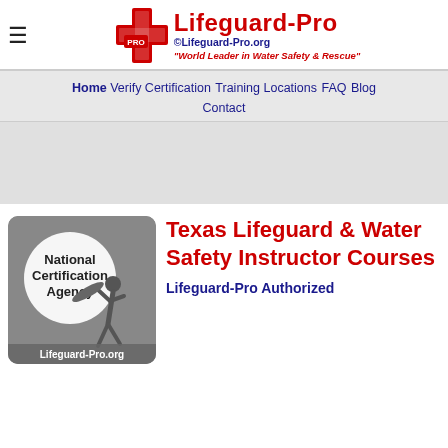≡  LIFEGUARD-PRO ©Lifeguard-Pro.org "World Leader in Water Safety & Rescue"
Home  Verify Certification  Training Locations  FAQ  Blog  Contact
[Figure (photo): Lifeguard-Pro National Certification Agency badge with a running lifeguard holding a rescue board, grayscale image with text 'Lifeguard-Pro.org' at bottom]
Texas Lifeguard & Water Safety Instructor Courses
Lifeguard-Pro Authorized